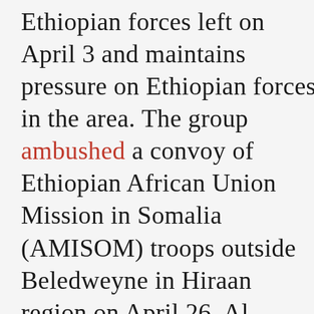Ethiopian forces left on April 3 and maintains pressure on Ethiopian forces in the area. The group ambushed a convoy of Ethiopian African Union Mission in Somalia (AMISOM) troops outside Beledweyne in Hiraan region on April 26. Al Shabaab will take control of more towns